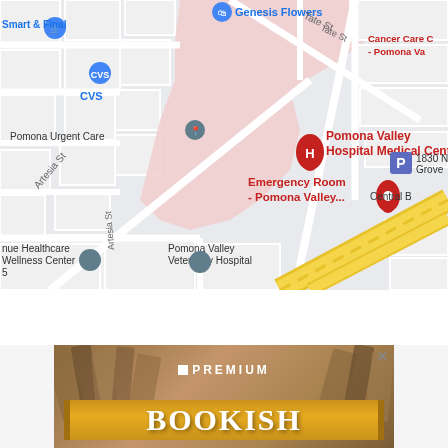[Figure (map): Google Maps screenshot showing Pomona Valley Hospital Medical Center area with Emergency Room marker, surrounding streets including Artesia St and Tate St, nearby locations including CVS, Smart & Final, Genesis Flowers, Cancer Care Center - Pomona Valley, 1830 N Grove, Pomona Urgent Care, nue Healthcare Wellness Center, Pomona Valley Veterinary Hospital, and Interstate 10 freeway in yellow.]
[Figure (screenshot): Advertisement banner showing 'PREMIUM' text above a 'BOOKISH' title in a golden banner with decorative book imagery in the background. Close button (X) in top right.]